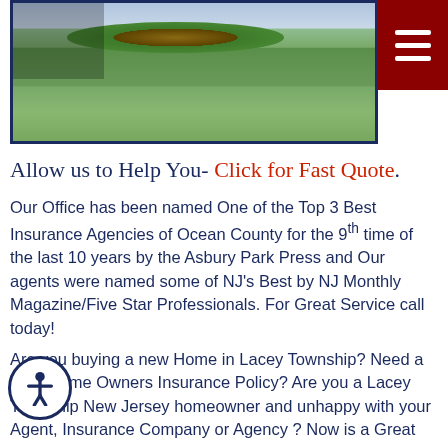[Figure (photo): Aerial/street-level photo of a house with green lawn and landscaping, showing a residential property exterior]
Allow us to Help You- Click for Fast Quote.
Our Office has been named One of the Top 3 Best Insurance Agencies of Ocean County for the 9th time of the last 10 years by the Asbury Park Press and Our agents were named some of NJ's Best by NJ Monthly Magazine/Five Star Professionals. For Great Service call today!
Are you buying a new Home in Lacey Township? Need a New Home Owners Insurance Policy? Are you a Lacey Township New Jersey homeowner and unhappy with your Agent, Insurance Company or Agency ? Now is a Great